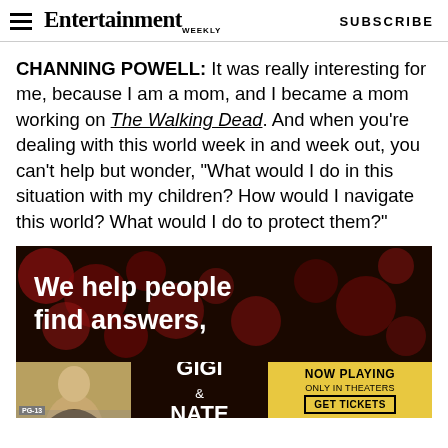Entertainment Weekly — SUBSCRIBE
CHANNING POWELL: It was really interesting for me, because I am a mom, and I became a mom working on The Walking Dead. And when you're dealing with this world week in and week out, you can't help but wonder, "What would I do in this situation with my children? How would I navigate this world? What would I do to protect them?"
[Figure (screenshot): Advertisement banner: dark background with bokeh circles, white bold text reading 'We help people find answers,']
[Figure (screenshot): Movie advertisement for Gigi & Nate: yellow background, NOW PLAYING ONLY IN THEATERS, GET TICKETS button]